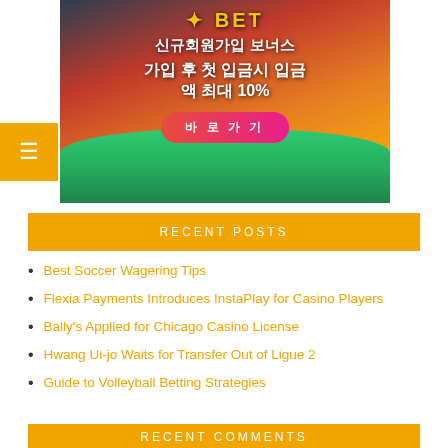[Figure (photo): Sports betting website banner with Korean text showing a baseball stadium at sunset. Text reads: 신규회원가입 보너스 / 가입 후 첫 입금시 입금 액 최대 10% with a pink 'Click to Go' button (바 로 가 기) and a logo at top. Orange hamburger menu button on left side.]
RECENT POSTS
Best Soccer Wagering Tips
Flexia Payments Introduces InstaPlay for Casino Players
Bally's Applied for Chicago Casino License
Hwang Ui-jo Waits for Transfer Out of Ligue 2
Guide to Volleyball Betting Strategies
RECENT COMMENTS